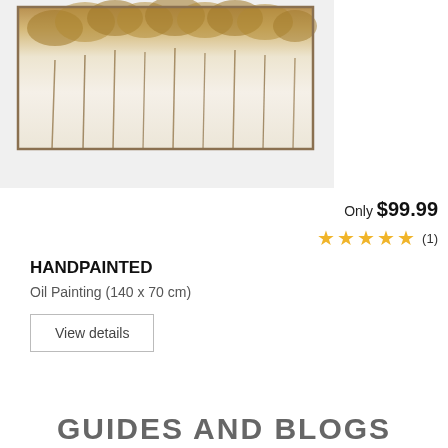[Figure (photo): Handpainted oil painting artwork showing a forest or birch trees in warm gold and cream tones, framed with a thin border, displayed on a light gray product card background.]
Only $99.99
★★★★★ (1)
HANDPAINTED
Oil Painting (140 x 70 cm)
View details
GUIDES AND BLOGS